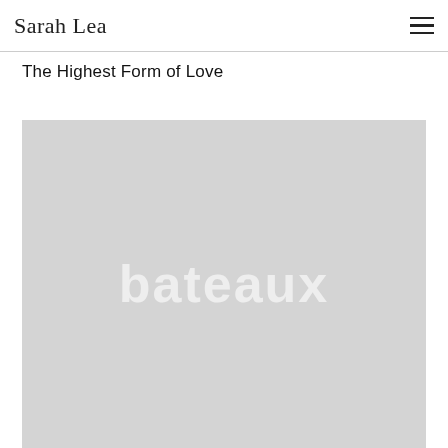Sarah Lea
The Highest Form of Love
[Figure (photo): A large light gray placeholder image with the watermark text 'bateaux' displayed in white bold lettering centered on the image.]